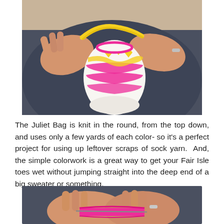[Figure (photo): Hands holding a small knitted colorwork bag (Juliet Bag) with pink, yellow, and white Fair Isle pattern and a yellow I-cord handle, against a dark blue/grey background.]
The Juliet Bag is knit in the round, from the top down, and uses only a few yards of each color- so it's a perfect project for using up leftover scraps of sock yarn.  And, the simple colorwork is a great way to get your Fair Isle toes wet without jumping straight into the deep end of a big sweater or something.
[Figure (photo): Close-up of hands knitting with bright pink yarn, person wearing a blue/grey top and silver ring.]